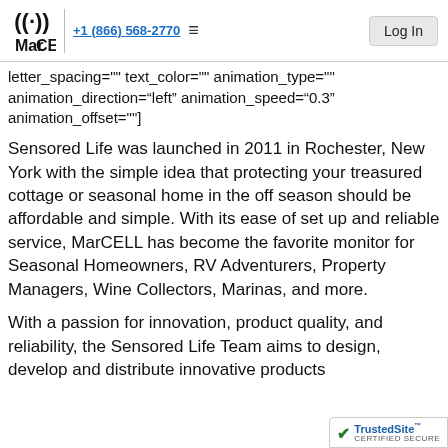MarCELL | +1 (866) 568-2770 | Log In
letter_spacing="" text_color="" animation_type="" animation_direction="left" animation_speed="0.3" animation_offset=""]
Sensored Life was launched in 2011 in Rochester, New York with the simple idea that protecting your treasured cottage or seasonal home in the off season should be affordable and simple. With its ease of set up and reliable service, MarCELL has become the favorite monitor for Seasonal Homeowners, RV Adventurers, Property Managers, Wine Collectors, Marinas, and more.
With a passion for innovation, product quality, and reliability, the Sensored Life Team aims to design, develop and distribute innovative products